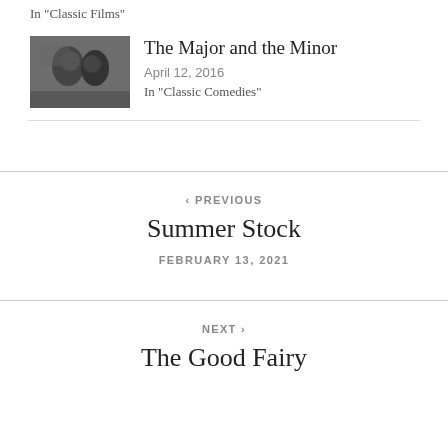In "Classic Films"
[Figure (photo): Black and white thumbnail photo of two people, related to The Major and the Minor film]
The Major and the Minor
April 12, 2016
In "Classic Comedies"
‹ PREVIOUS
Summer Stock
FEBRUARY 13, 2021
NEXT ›
The Good Fairy